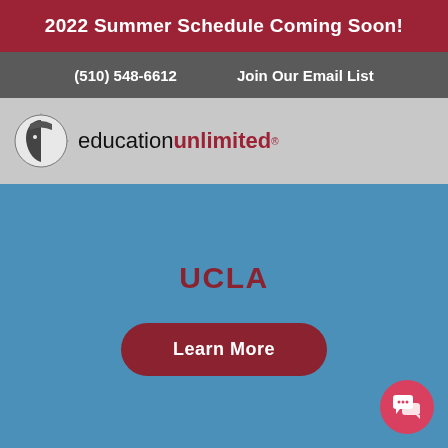2022 Summer Schedule Coming Soon!
(510) 548-6612    Join Our Email List
[Figure (logo): Education Unlimited logo with face profile icon and wordmark]
UCLA
Learn More